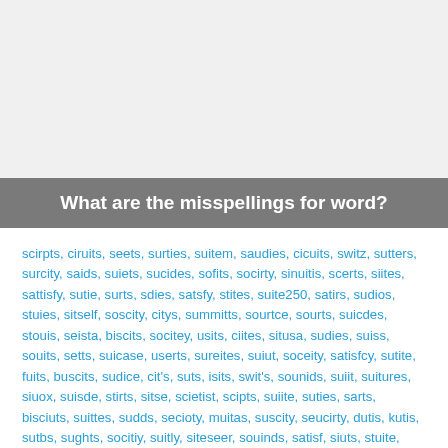What are the misspellings for word?
scirpts, ciruits, seets, surties, suitem, saudies, cicuits, switz, sutters, surcity, saids, suiets, sucides, sofits, socirty, sinuitis, scerts, siites, sattisfy, sutie, surts, sdies, satsfy, stites, suite250, satirs, sudios, stuies, sitself, soscity, citys, summitts, sourtce, sourts, suicdes, stouis, seista, biscits, socitey, usits, ciites, situsa, sudies, suiss, souits, setts, suicase, userts, sureites, suiut, soceity, satisfcy, sutite, fuits, buscits, sudice, cit's, suts, isits, swit's, sounids, suiit, suitures, siuox, suisde, stirts, sitse, scietist, scipts, suiite, suties, sarts, bisciuts, suittes, sudds, secioty, muitas, suscity, seucirty, dutis, kutis, sutbs, sughts, socitiy, suitly, siteseer, souinds, satisf, siuts, stuite, suvise, miuts, socitys, bisuits, socity, sutisfy, syudies, lawsuites, suceity, assits.